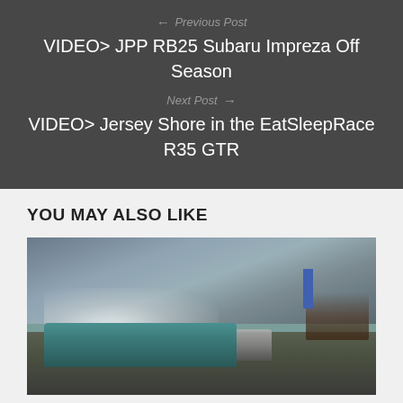← Previous Post
VIDEO> JPP RB25 Subaru Impreza Off Season
Next Post →
VIDEO> Jersey Shore in the EatSleepRace R35 GTR
YOU MAY ALSO LIKE
[Figure (photo): Two drift cars on a track with smoke, a teal/turquoise car in the foreground and a silver car behind it, people watching from a hill in the background under a dramatic cloudy sky.]